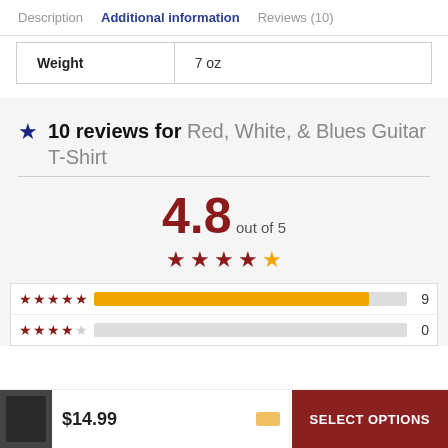Description  Additional information  Reviews (10)
| Weight | 7 oz |
10 reviews for Red, White, & Blues Guitar T-Shirt
4.8 out of 5
[Figure (other): Star rating bars: 5-star: 9, 4-star: 0]
$14.99  SELECT OPTIONS